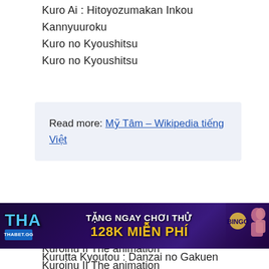Kuro Ai : Hitoyozumakan Inkou Kannyuuroku
Kuro no Kyoushitsu
Kuro no Kyoushitsu
Read more: Mỹ Tâm – Wikipedia tiếng Việt
Kurohime Shikkoku no Yakata
Kurohime : Shikkoku no Yakata
Kuroinu II The animation
Kuroinu II The animation
Kuroinu Kedakaki Seijo wa Hakudaku ni Somaru
Kuroinu Kedakaki Seijo wa Hakudaku ni
[Figure (infographic): Advertisement banner for THABET.GG with text 'TẶNG NGAY CHƠI THỬ 128K MIỄN PHÍ']
Kurutta Kyoutou : Danzai no Gakuen